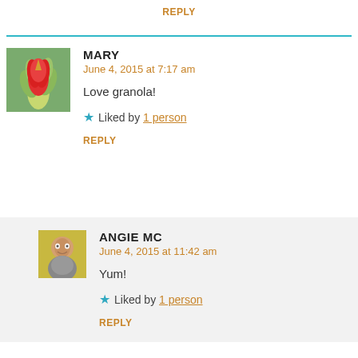REPLY
MARY
June 4, 2015 at 7:17 am

Love granola!

★ Liked by 1 person

REPLY
ANGIE MC
June 4, 2015 at 11:42 am

Yum!

★ Liked by 1 person

REPLY